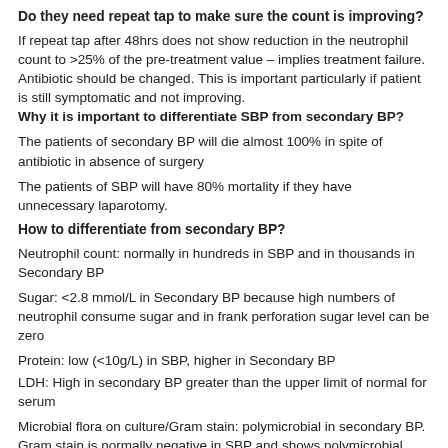Do they need repeat tap to make sure the count is improving?
If repeat tap after 48hrs does not show reduction in the neutrophil count to >25% of the pre-treatment value – implies treatment failure. Antibiotic should be changed. This is important particularly if patient is still symptomatic and not improving.
Why it is important to differentiate SBP from secondary BP?
The patients of secondary BP will die almost 100% in spite of antibiotic in absence of surgery
The patients of SBP will have 80% mortality if they have unnecessary laparotomy.
How to differentiate from secondary BP?
Neutrophil count: normally in hundreds in SBP and in thousands in Secondary BP
Sugar: <2.8 mmol/L in Secondary BP because high numbers of neutrophil consume sugar and in frank perforation sugar level can be zero
Protein: low (<10g/L) in SBP, higher in Secondary BP
LDH: High in secondary BP greater than the upper limit of normal for serum
Microbial flora on culture/Gram stain: polymicrobial in secondary BP. Gram stain is normally negative in SBP and shows polymicrobial flora in secondary BP. Even then Gram stain is not recommended.
CEA: High levels in secondary BP.